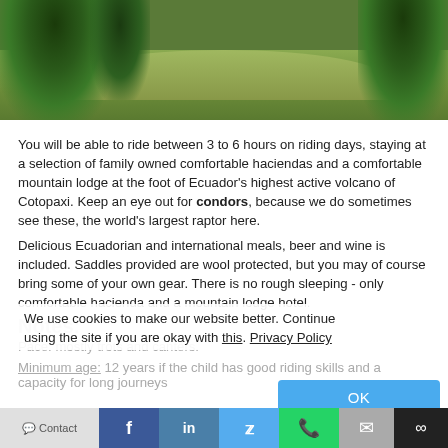[Figure (photo): Landscape photo showing green hills and trees in Ecuador]
You will be able to ride between 3 to 6 hours on riding days, staying at a selection of family owned comfortable haciendas and a comfortable mountain lodge at the foot of Ecuador's highest active volcano of Cotopaxi. Keep an eye out for condors, because we do sometimes see these, the world's largest raptor here.
Delicious Ecuadorian and international meals, beer and wine is included. Saddles provided are wool protected, but you may of course bring some of your own gear. There is no rough sleeping - only comfortable hacienda and a mountain lodge hotel.
Notes:
Pace: mostly trots and canters.
Minimum age: 12 years if the child has good riding skills and a capacity for long journeys
We use cookies to make our website better. Continue using the site if you are okay with this. Privacy Policy
OK